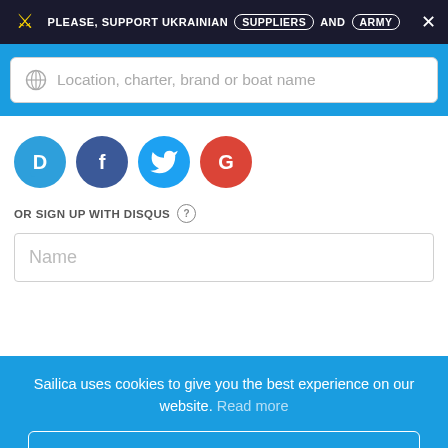PLEASE, SUPPORT UKRAINIAN SUPPLIERS AND ARMY
[Figure (screenshot): Search input box with globe icon and placeholder text 'Location, charter, brand or boat name']
[Figure (screenshot): Social login icons: Disqus (D), Facebook (F), Twitter (bird), Google (G) as colored circles]
OR SIGN UP WITH DISQUS
[Figure (screenshot): Name input field with placeholder text 'Name']
Sailica uses cookies to give you the best experience on our website. Read more
Accept